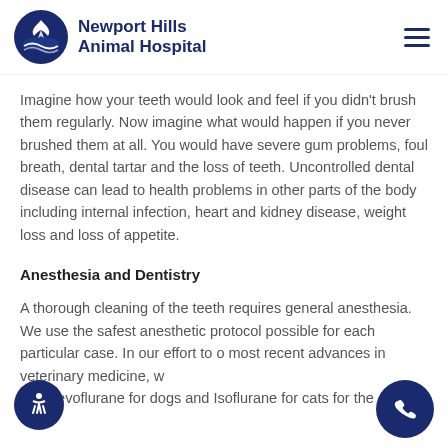Newport Hills Animal Hospital
Imagine how your teeth would look and feel if you didn't brush them regularly. Now imagine what would happen if you never brushed them at all. You would have severe gum problems, foul breath, dental tartar and the loss of teeth. Uncontrolled dental disease can lead to health problems in other parts of the body including internal infection, heart and kidney disease, weight loss and loss of appetite.
Anesthesia and Dentistry
A thorough cleaning of the teeth requires general anesthesia. We use the safest anesthetic protocol possible for each particular case. In our effort to offer the most recent advances in veterinary medicine, we use Sevoflurane for dogs and Isoflurane for cats for the